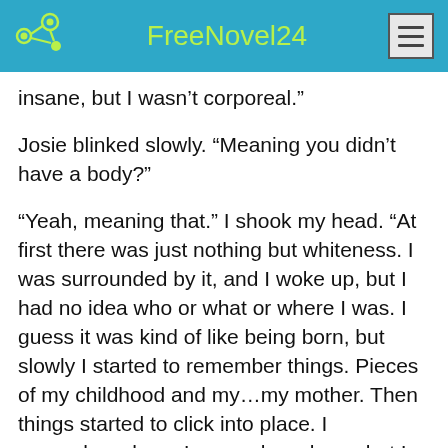FreeNovel24
insane, but I wasn’t corporeal.”
Josie blinked slowly. “Meaning you didn’t have a body?”
“Yeah, meaning that.” I shook my head. “At first there was just nothing but whiteness. I was surrounded by it, and I woke up, but I had no idea who or what or where I was. I guess it was kind of like being born, but slowly I started to remember things. Pieces of my childhood and my…my mother. Then things started to click into place. I remembered me. I remembered you, but I